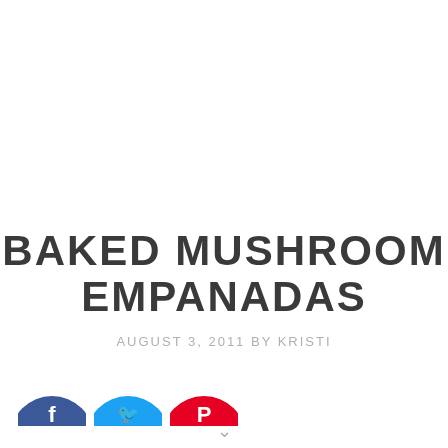BAKED MUSHROOM EMPANADAS
AUGUST 3, 2011 BY KRISTI
[Figure (infographic): Three partially visible circular social share buttons: Facebook (blue), Twitter (light blue), Pinterest (red)]